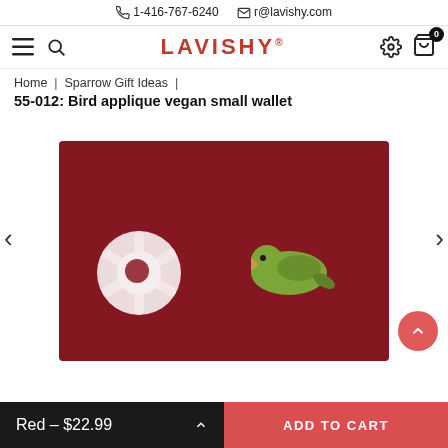1-416-767-6240   r@lavishy.com
[Figure (logo): LAVISHY brand logo in red with navigation icons (hamburger menu, search, settings, cart with badge 0)]
Home | Sparrow Gift Ideas |
55-012: Bird applique vegan small wallet
[Figure (photo): Product photo of a red/dark-red bird applique vegan small wallet with white snowflake and green bird design on dark red background, shown partially cropped with left/right navigation arrows]
Red – $22.99
ADD TO CART